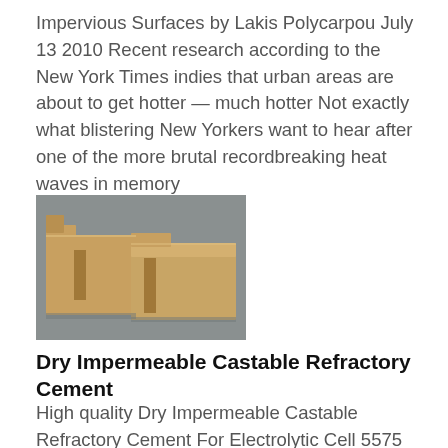Impervious Surfaces by Lakis Polycarpou July 13 2010 Recent research according to the New York Times indies that urban areas are about to get hotter — much hotter Not exactly what blistering New Yorkers want to hear after one of the more brutal recordbreaking heat waves in memory
[Figure (photo): Photo of tan/orange refractory cement bricks with interlocking stepped profiles, photographed on a grey surface.]
Dry Impermeable Castable Refractory Cement
High quality Dry Impermeable Castable Refractory Cement For Electrolytic Cell 5575 SiO2 from China Chinas leading Refractory Insulation Materials product market With strict quality control